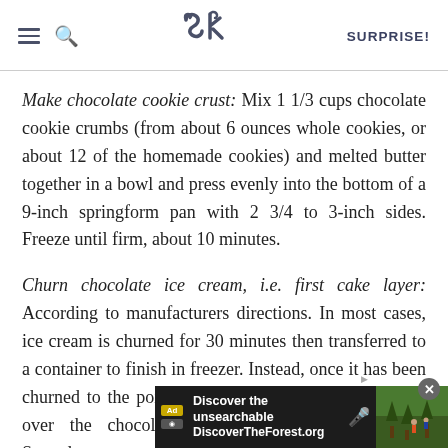SK SURPRISE!
Make chocolate cookie crust: Mix 1 1/3 cups chocolate cookie crumbs (from about 6 ounces whole cookies, or about 12 of the homemade cookies) and melted butter together in a bowl and press evenly into the bottom of a 9-inch springform pan with 2 3/4 to 3-inch sides. Freeze until firm, about 10 minutes.
Churn chocolate ice cream, i.e. first cake layer: According to manufacturers directions. In most cases, ice cream is churned for 30 minutes then transferred to a container to finish in freezer. Instead, once it has been churned to the point of soft-serve ice cream, spread it over the chocolate crumb crust in the freezer. Spread [ad overlay] about
[Figure (screenshot): Ad bar overlay at bottom of page showing 'Discover the unsearchable' / 'DiscoverTheForest.org' advertisement with forest image and close button]